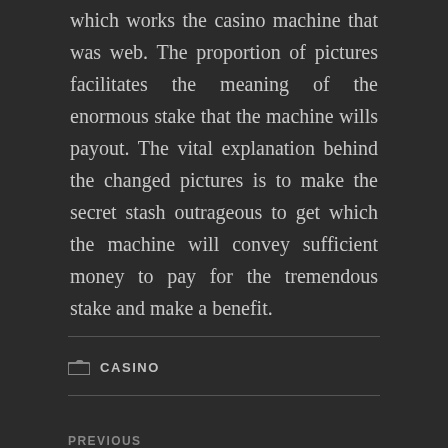which works the casino machine that was web. The proportion of pictures facilitates the meaning of the enormous stake that the machine wills payout. The vital explanation behind the changed pictures is to make the secret stash outrageous to get which the machine will convey sufficient money to pay for the tremendous stake and make a benefit.
CASINO
PREVIOUS
← A Newbie's Guide to IMIWINPLUS Online Casino Football Betting